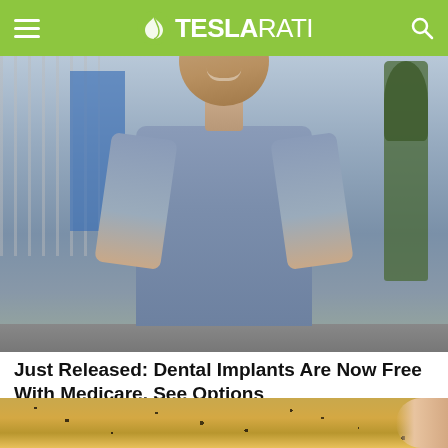TESLARATI
[Figure (photo): Young woman smiling outdoors, wearing a grey-blue fitted top, standing on a sidewalk with a fence, blue building, and trees in background]
Just Released: Dental Implants Are Now Free With Medicare. See Options
Dental Implant | Search Ads
[Figure (photo): Close-up of a golden/yellow textured food item (possibly a cracker or cookie) held between fingers]